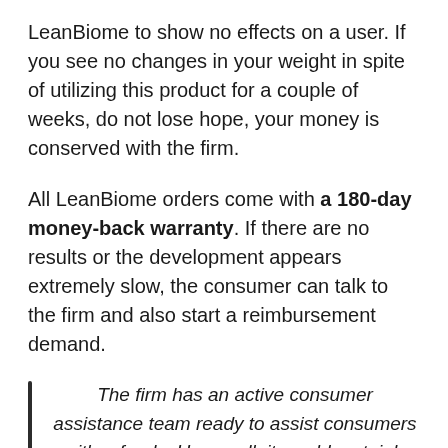LeanBiome to show no effects on a user. If you see no changes in your weight in spite of utilizing this product for a couple of weeks, do not lose hope, your money is conserved with the firm.
All LeanBiome orders come with a 180-day money-back warranty. If there are no results or the development appears extremely slow, the consumer can talk to the firm and also start a reimbursement demand.
The firm has an active consumer assistance team ready to assist consumers with refunds. Upon call, it would certainly request for the order number, get in touch with information, and banking details to validate from documents and